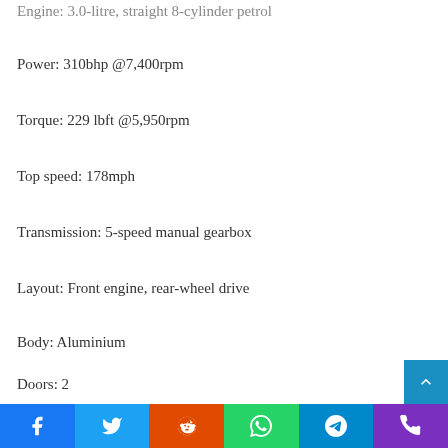Engine: 3.0-litre, straight 8-cylinder petrol
Power: 310bhp @7,400rpm
Torque: 229 lbft @5,950rpm
Top speed: 178mph
Transmission: 5-speed manual gearbox
Layout: Front engine, rear-wheel drive
Body: Aluminium
Doors: 2
Dimensions